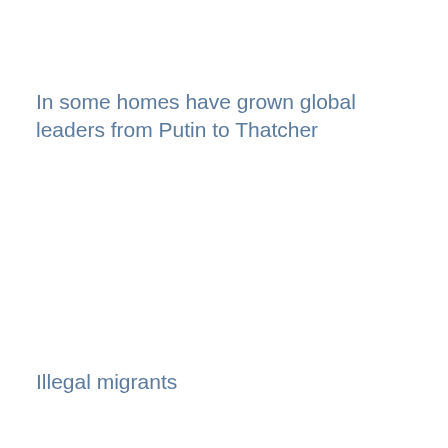In some homes have grown global leaders from Putin to Thatcher
Illegal migrants